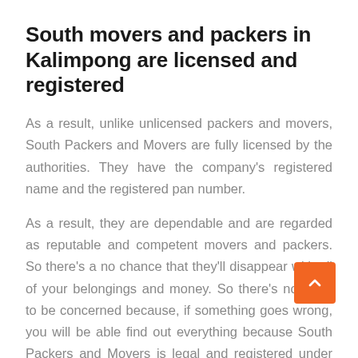South movers and packers in Kalimpong are licensed and registered
As a result, unlike unlicensed packers and movers, South Packers and Movers are fully licensed by the authorities. They have the company's registered name and the registered pan number.
As a result, they are dependable and are regarded as reputable and competent movers and packers. So there's a no chance that they'll disappear with all of your belongings and money. So there's no need to be concerned because, if something goes wrong, you will be able find out everything because South Packers and Movers is legal and registered under the governme...
South Packers and Movers in Kalimpong